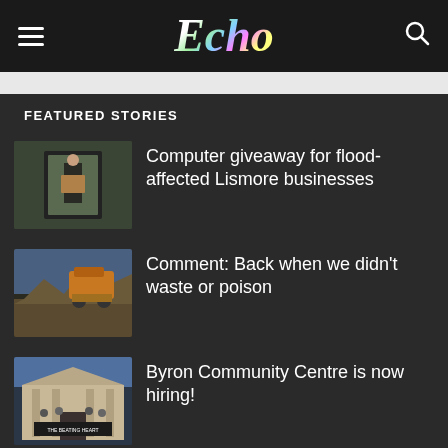Echo
FEATURED STORIES
[Figure (photo): Person standing in flooded building doorway holding a box]
Computer giveaway for flood-affected Lismore businesses
[Figure (photo): Bulldozer demolishing a damaged building with rubble]
Comment: Back when we didn't waste or poison
[Figure (photo): Byron Community Centre building exterior with people on steps and sign reading THE BEATING HEART OF BYRON BYRONCENTRE.COM.AU]
Byron Community Centre is now hiring!